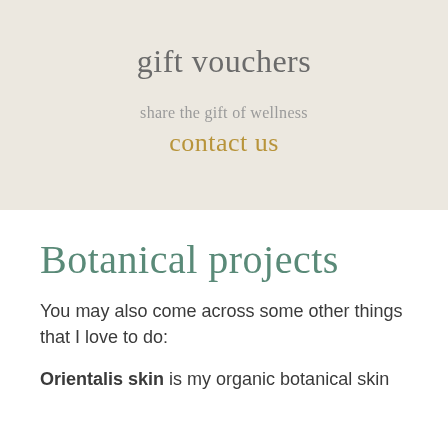gift vouchers
share the gift of wellness
contact us
Botanical projects
You may also come across some other things that I love to do:
Orientalis skin  is my organic botanical skin